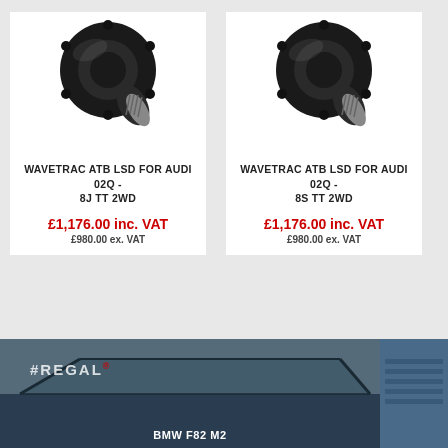[Figure (photo): Wavetrac ATB LSD differential unit, black metal component with splined shaft, on white background]
WAVETRAC ATB LSD FOR AUDI 02Q - 8J TT 2WD
£1,176.00 inc. VAT
£980.00 ex. VAT
[Figure (photo): Wavetrac ATB LSD differential unit, black metal component with splined shaft, on white background]
WAVETRAC ATB LSD FOR AUDI 02Q - 8S TT 2WD
£1,176.00 inc. VAT
£980.00 ex. VAT
[Figure (photo): BMW F82 M2 car photograph, dark blue car with REGAL watermark on windscreen, partial view]